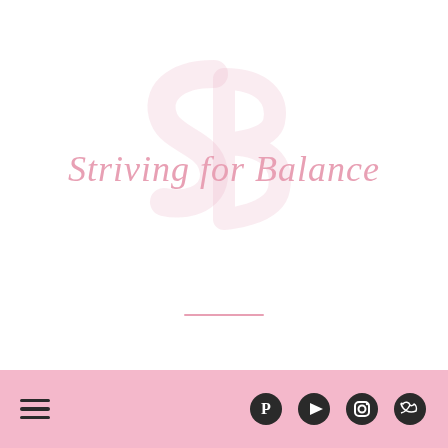[Figure (logo): Striving for Balance brand logo with cursive pink text and faint watermark initials SB, with a pink horizontal divider line below]
[Figure (infographic): Pink footer bar with hamburger menu icon on the left and Pinterest, YouTube, Instagram, Twitter social media icons on the right]